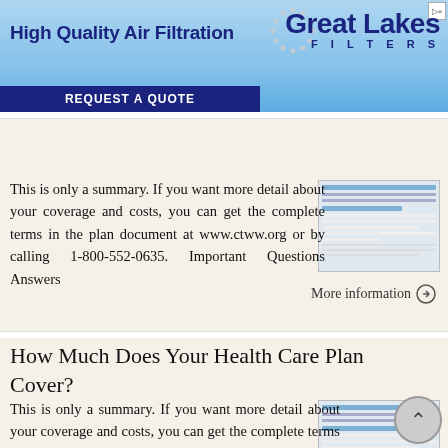[Figure (screenshot): Advertisement banner for Great Lakes Filters - High Quality Air Filtration with blue sky background and REQUEST A QUOTE button]
tters:
This is only a summary. If you want more detail about your coverage and costs, you can get the complete terms in the plan document at www.ctww.org or by calling 1-800-552-0635. Important Questions Answers
More information →
How Much Does Your Health Care Plan Cover?
This is only a summary. If you want more detail about your coverage and costs, you can get the complete terms in the policy or plan document at www.arml.org\benefit_programs.html or by calling 1-501-978-6137.